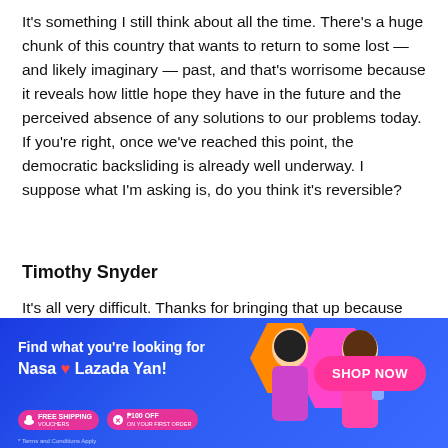It's something I still think about all the time. There's a huge chunk of this country that wants to return to some lost — and likely imaginary — past, and that's worrisome because it reveals how little hope they have in the future and the perceived absence of any solutions to our problems today. If you're right, once we've reached this point, the democratic backsliding is already well underway. I suppose what I'm asking is, do you think it's reversible?
Timothy Snyder
It's all very difficult. Thanks for bringing that up because
[Figure (infographic): Lazada advertisement banner with blue gradient background, decorative hexagons in orange and pink, two women in pink outfits, text 'Find what you're looking for Nasa ❤ Lazada Yan!', FREE SHIPPING and ₱100 OFF badges, and a pink SHOP NOW button.]